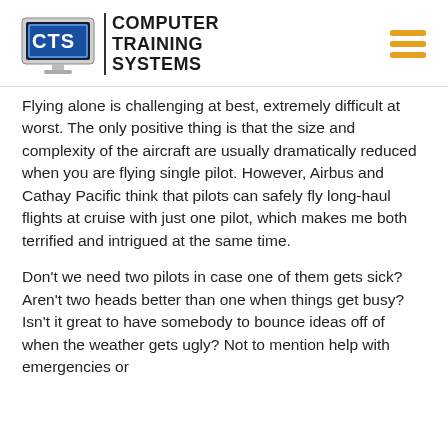[Figure (logo): Computer Training Systems (CTS) logo with monitor icon and bold text, plus hamburger menu icon in top right]
Flying alone is challenging at best, extremely difficult at worst. The only positive thing is that the size and complexity of the aircraft are usually dramatically reduced when you are flying single pilot. However, Airbus and Cathay Pacific think that pilots can safely fly long-haul flights at cruise with just one pilot, which makes me both terrified and intrigued at the same time.
Don't we need two pilots in case one of them gets sick? Aren't two heads better than one when things get busy? Isn't it great to have somebody to bounce ideas off of when the weather gets ugly? Not to mention help with emergencies or